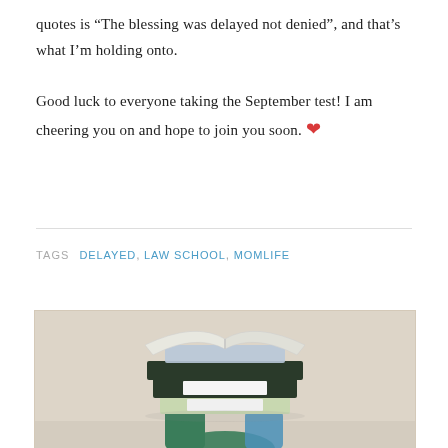quotes is “The blessing was delayed not denied”, and that’s what I’m holding onto.

Good luck to everyone taking the September test! I am cheering you on and hope to join you soon. ❤️
TAGS  DELAYED, LAW SCHOOL, MOMLIFE
[Figure (photo): A person holding a stack of books topped with an open book, photographed from below against a light beige/grey background. The person is wearing a green sleeve.]